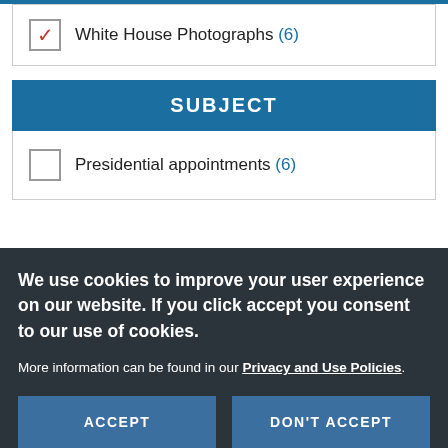White House Photographs (6)
SUBJECT
Presidential appointments (6)
We use cookies to improve your user experience on our website. If you click accept you consent to our use of cookies.
More information can be found in our Privacy and Use Policies.
ACCEPT
DON'T ACCEPT